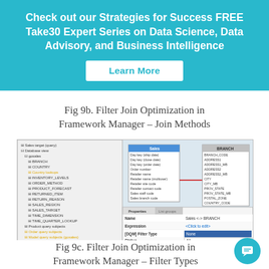[Figure (infographic): Teal/cyan banner with bold white text promoting 'Strategies for Success FREE Take30 Expert Series on Data Science, Data Advisory, and Business Intelligence' and a white 'Learn More' button]
Fig 9b. Filter Join Optimization in Framework Manager – Join Methods
[Figure (screenshot): Screenshot of IBM Cognos Framework Manager showing a tree of query subjects on the left (Sales target query, Database view with gosales, BRANCH, COUNTRY, Country lookups, INVENTORY_LEVELS, ORDER_METHOD, PRODUCT_FORECAST, RETURNED_ITEM, RETURN_REASON, SALES_REGION, SALES_TARGET, TIME_DIMENSION, TIME_QUARTER_LOOKUP, Product query subjects, Order query subjects, Model query subjects (gosales)), and on the right a join diagram between Sales and BRANCH tables, with Properties panel below showing Name: Sales <-> BRANCH, Expression: <Click to edit>, [DQM] Filter Type: None/All/Between/Table, Status field]
Fig 9c. Filter Join Optimization in Framework Manager – Filter Types